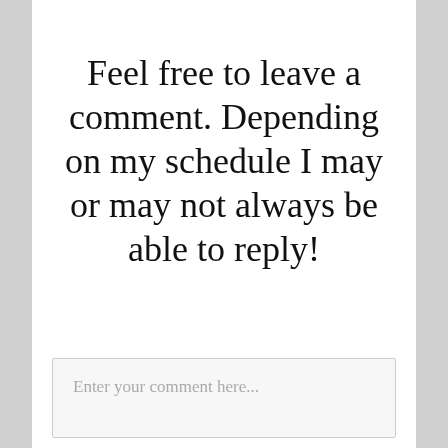Feel free to leave a comment. Depending on my schedule I may or may not always be able to reply!
Enter your comment here...